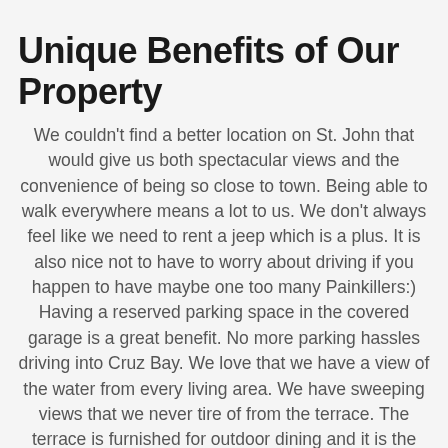Unique Benefits of Our Property
We couldn't find a better location on St. John that would give us both spectacular views and the convenience of being so close to town. Being able to walk everywhere means a lot to us. We don't always feel like we need to rent a jeep which is a plus. It is also nice not to have to worry about driving if you happen to have maybe one too many Painkillers:) Having a reserved parking space in the covered garage is a great benefit. No more parking hassles driving into Cruz Bay. We love that we have a view of the water from every living area. We have sweeping views that we never tire of from the terrace. The terrace is furnished for outdoor dining and it is the perfect spot for sipping morning coffee and checking out all that is going on in the harbor. Cocktails while watching the unbelievable St. John sunsets are always a highlight of the day. We can't get over how